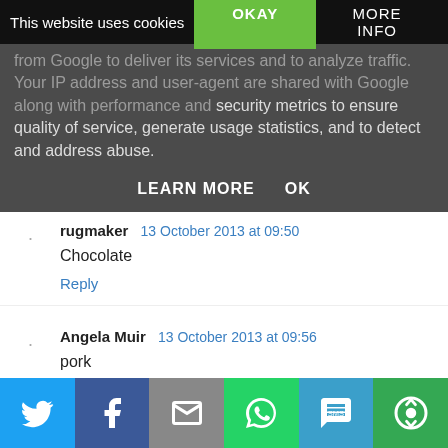This website uses cookies
OKAY
MORE INFO
from Google to deliver its services and to analyze traffic. Your IP address and user-agent are shared with Google along with performance and security metrics to ensure quality of service, generate usage statistics, and to detect and address abuse.
LEARN MORE    OK
rugmaker  13 October 2013 at 09:50
Chocolate
Reply
Angela Muir  13 October 2013 at 09:56
pork
Reply
[Figure (infographic): Social sharing bar with icons for Twitter, Facebook, Email, WhatsApp, SMS, and More options]